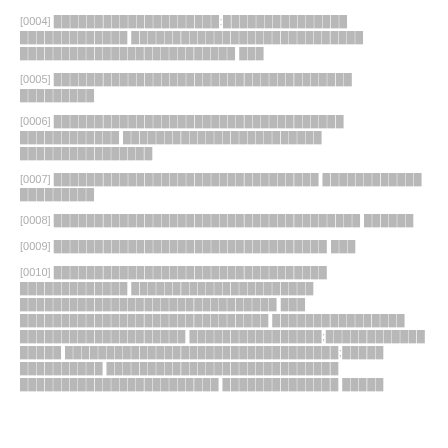[0004] ████████████████:████████████████ █████████████ █████████████████████████ ██████████████████████████ ███
[0005] ████████████████████████████████████ █████████
[0006] ████████████████████████████████████ ████████████ ████████████████████████ ████████████████
[0007] ████████████████████████████████ ████████████ █████████
[0008] █████████████████████████████████████ ██████
[0009] █████████████████████████████████ ███
[0010] █████████████████████████████████ █████████████ ██████████████████████ ███████████████████████████████ ███ ██████████████████████████████ ████████████████ ████████████████████ ████████████████;████████████ █████ █████████████████████████████████;█████ ██████████ ████████████████████████████ ████████████████████████ ██████████████ █████